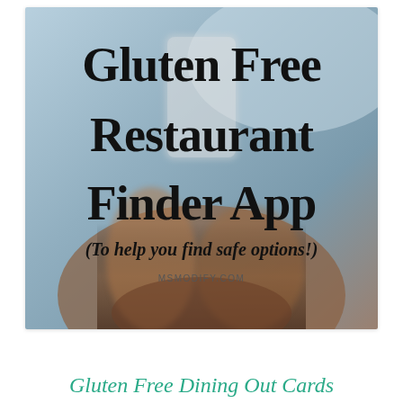[Figure (photo): A photo showing hands holding a smartphone, used as background for a blog post graphic about Gluten Free Restaurant Finder App. Text overlay includes the title 'Gluten Free Restaurant Finder App' and subtitle '(To help you find safe options!)' with MSMODIFY.COM watermark.]
Gluten Free Dining Out Cards